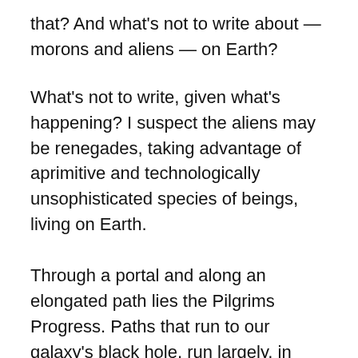that? And what's not to write about — morons and aliens — on Earth?
What's not to write, given what's happening? I suspect the aliens may be renegades, taking advantage of aprimitive and technologically unsophisticated species of beings, living on Earth.
Through a portal and along an elongated path lies the Pilgrims Progress. Paths that run to our galaxy's black hole, run largely, in parallel. A primrose path marks the progress, of pilgrims.
Through a portal and down an elongated path lies the Pilgrims Progress; paths that run to our galaxy's black hole, and often back. Primrose paths markthe progress —